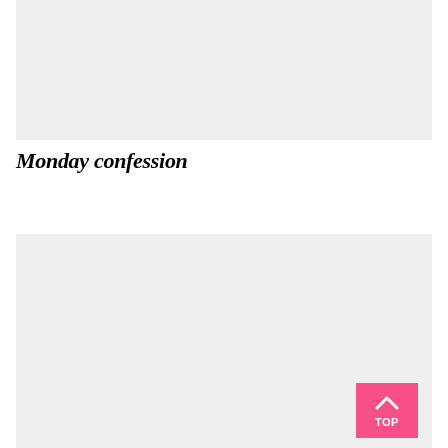[Figure (photo): Large light gray image placeholder block at the top of the page]
Monday confession
[Figure (photo): Large light gray image placeholder block at the bottom of the page, with a pink 'TOP' scroll-to-top button in the bottom-right corner]